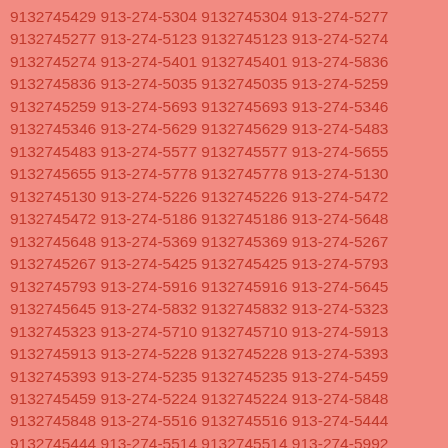9132745429 913-274-5304 9132745304 913-274-5277 9132745277 913-274-5123 9132745123 913-274-5274 9132745274 913-274-5401 9132745401 913-274-5836 9132745836 913-274-5035 9132745035 913-274-5259 9132745259 913-274-5693 9132745693 913-274-5346 9132745346 913-274-5629 9132745629 913-274-5483 9132745483 913-274-5577 9132745577 913-274-5655 9132745655 913-274-5778 9132745778 913-274-5130 9132745130 913-274-5226 9132745226 913-274-5472 9132745472 913-274-5186 9132745186 913-274-5648 9132745648 913-274-5369 9132745369 913-274-5267 9132745267 913-274-5425 9132745425 913-274-5793 9132745793 913-274-5916 9132745916 913-274-5645 9132745645 913-274-5832 9132745832 913-274-5323 9132745323 913-274-5710 9132745710 913-274-5913 9132745913 913-274-5228 9132745228 913-274-5393 9132745393 913-274-5235 9132745235 913-274-5459 9132745459 913-274-5224 9132745224 913-274-5848 9132745848 913-274-5516 9132745516 913-274-5444 9132745444 913-274-5514 9132745514 913-274-5992 9132745992 913-274-5599 9132745599 913-274-5333 9132745333 913-274-5931 9132745931 913-274-5589 9132745589 913-274-5538 9132745538 913-274-5610 9132745610 913-274-5020 9132745020 913-274-5418 9132745418 913-274-5081 9132745081 913-274-5502 9132745502 913-274-5059 9132745059 913-274-5097 9132745097 913-274-5145 9132745145 913-274-5822 9132745822 913-274-5685 9132745685 913-274-5149 9132745149 913-274-5558 9132745558 913-274-5339 9132745339 913-274-5579 9132745579 913-274-5770 9132745770 913-274-5910 9132745910 913-274-5233 9132745233 913-274-5821